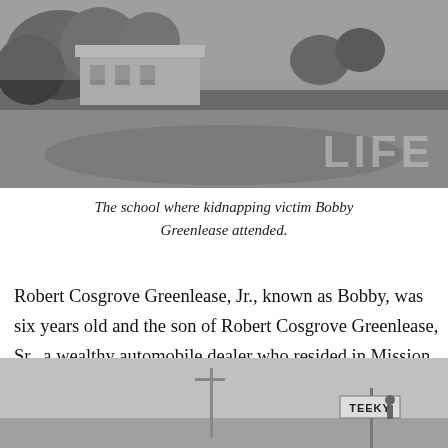[Figure (photo): Black and white photograph of a school building with a grassy area in the foreground, from a LIFE magazine spread. The LIFE logo is visible in the lower right corner of the photo.]
The school where kidnapping victim Bobby Greenlease attended.
Robert Cosgrove Greenlease, Jr., known as Bobby, was six years old and the son of Robert Cosgrove Greenlease, Sr., a wealthy automobile dealer who resided in Mission Hills, Kansas City, Missouri.
[Figure (photo): Black and white photograph showing a street scene with a sign partially visible reading 'TEEKY' or similar, with a figure visible near the sign.]